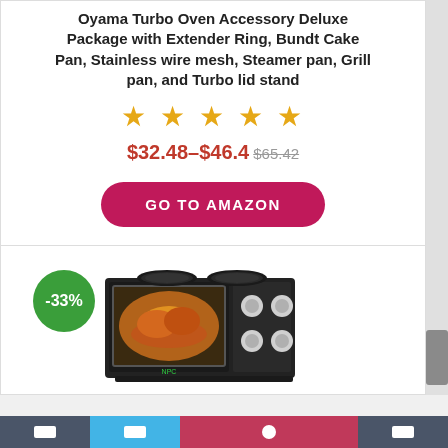Oyama Turbo Oven Accessory Deluxe Package with Extender Ring, Bundt Cake Pan, Stainless wire mesh, Steamer pan, Grill pan, and Turbo lid stand
[Figure (other): Five gold/orange star rating icons]
$32.48–$46.4 $65.42
[Figure (other): Red rounded rectangle button with text GO TO AMAZON]
[Figure (other): Green circular badge with -33% discount label, and product photo of a small countertop oven with two hot plates on top]
Navigation bar with social/share icons